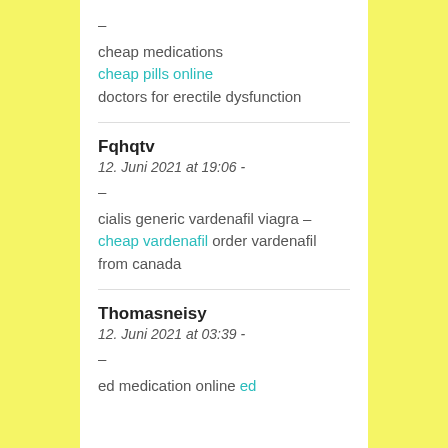–
cheap medications
cheap pills online
doctors for erectile dysfunction
Fqhqtv
12. Juni 2021 at 19:06 -
–
cialis generic vardenafil viagra – cheap vardenafil order vardenafil from canada
Thomasneisy
12. Juni 2021 at 03:39 -
–
ed medication online ed